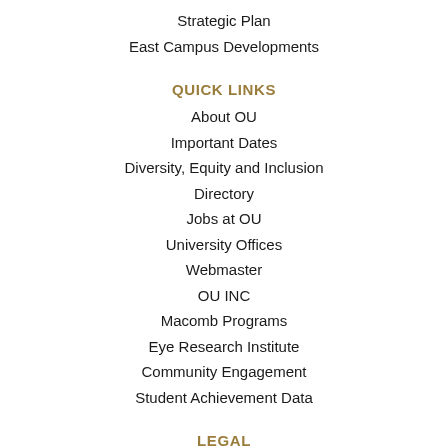Strategic Plan
East Campus Developments
QUICK LINKS
About OU
Important Dates
Diversity, Equity and Inclusion
Directory
Jobs at OU
University Offices
Webmaster
OU INC
Macomb Programs
Eye Research Institute
Community Engagement
Student Achievement Data
LEGAL
Public Accessibility Statement